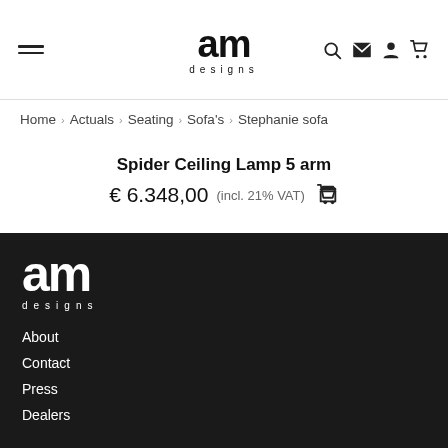am designs — header navigation with hamburger menu, search, email, account, and cart icons
Home › Actuals › Seating › Sofa's › Stephanie sofa
Spider Ceiling Lamp 5 arm
€ 6.348,00 (incl. 21% VAT)
am designs — About, Contact, Press, Dealers